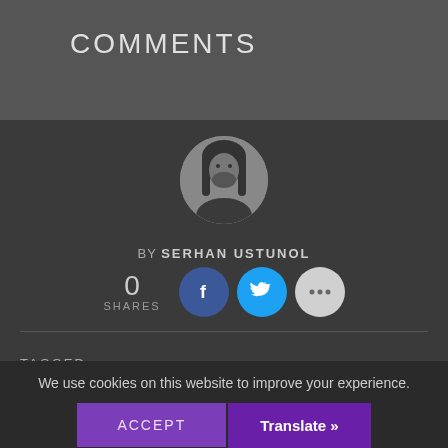COMMENTS
[Figure (photo): Circular black and white profile photo of author Serhan Ustunol with long hair]
BY SERHAN USTUNOL
0 SHARES
TAGGED:
We use cookies on this website to improve your experience.
ACCEPT
Translate »